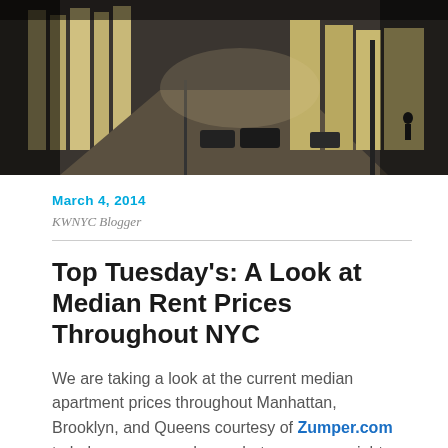[Figure (photo): Street-level photograph of a Manhattan street with tall buildings and columns, taken in bright sunlight with dark shadowed areas. Cars and pedestrians visible.]
March 4, 2014
KWNYC Blogger
Top Tuesday's: A Look at Median Rent Prices Throughout NYC
We are taking a look at the current median apartment prices throughout Manhattan, Brooklyn, and Queens courtesy of Zumper.com to help you narrow down what areas you might be interested in trying. We decided to highlight 4 of the areas listed to help you get a better picture of what you get for the price. Although, some of the prices might surprise you, our neighborhood expert agents are always ready to take your